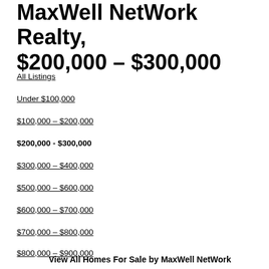MaxWell NetWork Realty, $200,000 – $300,000
All Listings
Under $100,000
$100,000 – $200,000
$200,000 - $300,000
$300,000 – $400,000
$500,000 – $600,000
$600,000 – $700,000
$700,000 – $800,000
$800,000 – $900,000
View All Homes For Sale by MaxWell NetWork